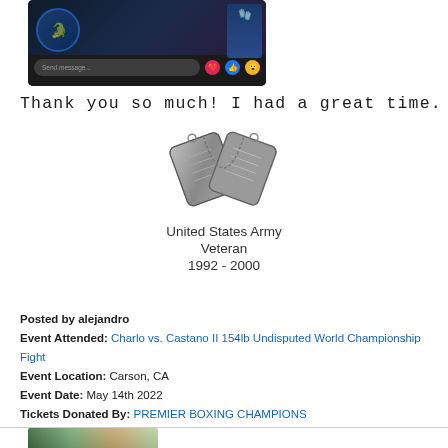[Figure (screenshot): Screenshot of a Facebook message interface showing a dark header with reaction emojis (heart, like, wow) and a 'Send message...' input bar]
Thank you so much! I had a great time.
[Figure (photo): Military dog tags arranged in a V shape on a chain]
United States Army
Veteran
1992 - 2000
Posted by alejandro
Event Attended: Charlo vs. Castano II 154lb Undisputed World Championship Fight
Event Location: Carson, CA
Event Date: May 14th 2022
Tickets Donated By: PREMIER BOXING CHAMPIONS
[Figure (photo): Bottom partial photo of an outdoor scene, partially visible]